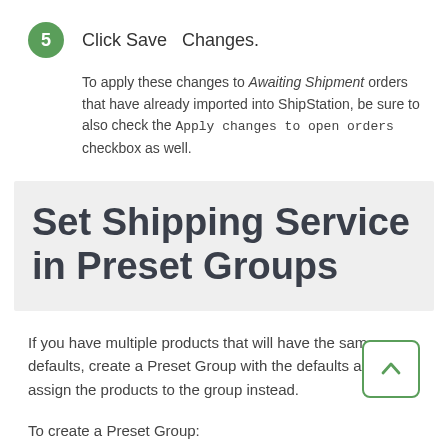5   Click Save  Changes.
To apply these changes to Awaiting Shipment orders that have already imported into ShipStation, be sure to also check the Apply changes to open orders checkbox as well.
Set Shipping Service in Preset Groups
If you have multiple products that will have the same defaults, create a Preset Group with the defaults and assign the products to the group instead.
To create a Preset Group: